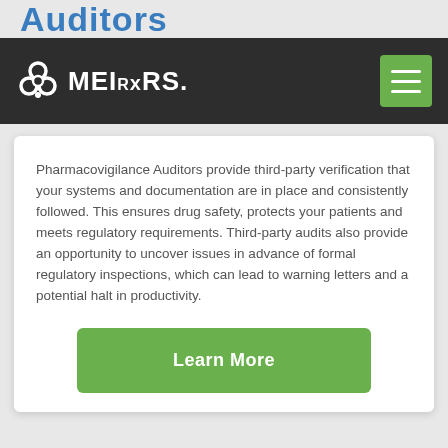Auditors
[Figure (logo): MEIRxRS logo with biohazard-style icon in white on dark navigation bar, and green hamburger menu button]
Pharmacovigilance Auditors provide third-party verification that your systems and documentation are in place and consistently followed. This ensures drug safety, protects your patients and meets regulatory requirements. Third-party audits also provide an opportunity to uncover issues in advance of formal regulatory inspections, which can lead to warning letters and a potential halt in productivity.
Learn More